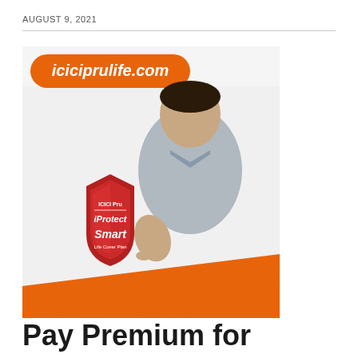AUGUST 9, 2021
[Figure (illustration): ICICI Prulife advertisement featuring a man in a grey shirt with iProtect Smart Life Cover Plan shield logo and iciciprulife.com banner]
Pay Premium for